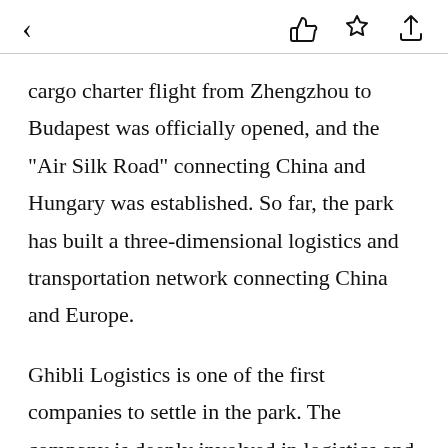< [like] [star] [share]
cargo charter flight from Zhengzhou to Budapest was officially opened, and the "Air Silk Road" connecting China and Hungary was established. So far, the park has built a three-dimensional logistics and transportation network connecting China and Europe.
Ghibli Logistics is one of the first companies to settle in the park. The company is deeply involved in logistics and transportation between China and Central and Eastern European countries. In this regard, the company's CEO Shaub Zoltan is very